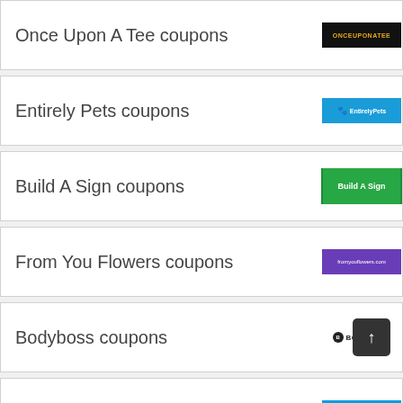Once Upon A Tee coupons
Entirely Pets coupons
Build A Sign coupons
From You Flowers coupons
Bodyboss coupons
Newair coupons
Globein coupons